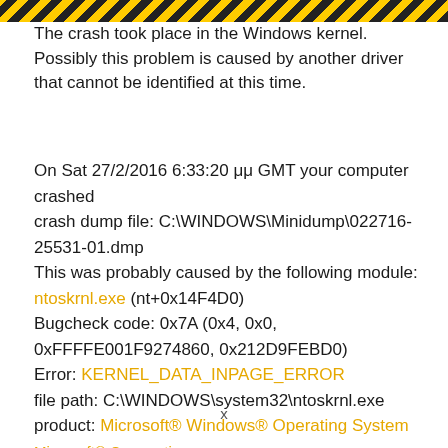The crash took place in the Windows kernel. Possibly this problem is caused by another driver that cannot be identified at this time.
On Sat 27/2/2016 6:33:20 μμ GMT your computer crashed
crash dump file: C:\WINDOWS\Minidump\022716-25531-01.dmp
This was probably caused by the following module: ntoskrnl.exe (nt+0x14F4D0)
Bugcheck code: 0x7A (0x4, 0x0, 0xFFFFE001F9274860, 0x212D9FEBD0)
Error: KERNEL_DATA_INPAGE_ERROR
file path: C:\WINDOWS\system32\ntoskrnl.exe
product: Microsoft® Windows® Operating System
Microsoft® Corporation
x